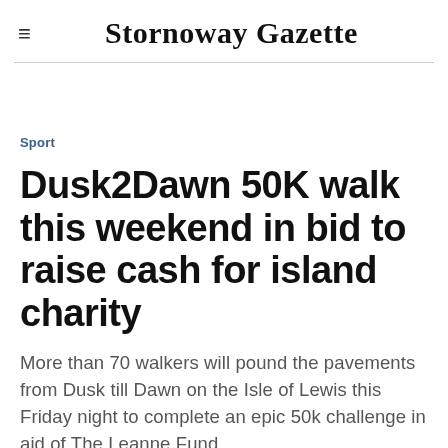Stornoway Gazette
Sport
Dusk2Dawn 50K walk this weekend in bid to raise cash for island charity
More than 70 walkers will pound the pavements from Dusk till Dawn on the Isle of Lewis this Friday night to complete an epic 50k challenge in aid of The Leanne Fund